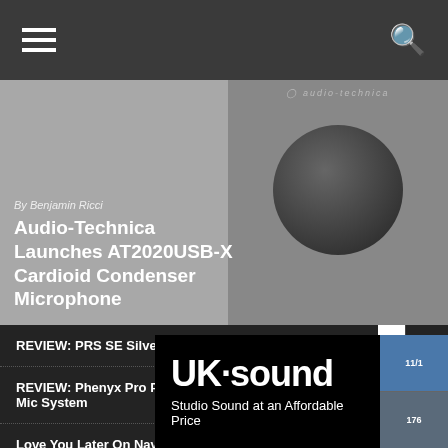Navigation bar with hamburger menu and search icon
By Benjamin Ricci
Audio-Technica Launches AT2020USB-X Cardioid Condenser Microphone
[Figure (photo): Audio-Technica microphone product photo on grey background with brand logo visible]
REVIEW: PRS SE Silver Sky
REVIEW: Phenyx Pro PTU-5000A 4-Channel Wireless Mic System
Love You Later On Navigating TikTok and Creating a Visual Sound
Travis Shallow: Building a Real-World Connection Through Digital Barriers
COVER STORY: Mia Asano Makes Violin Cool (Again)
INTERV…
The My…
How Mu…
[Figure (advertisement): UK Sound advertisement - black background with white bold UK Sound logo and tagline: Studio Sound at an Affordable Price]
[Figure (photo): Two blue guitar effect pedal product thumbnails on right side]